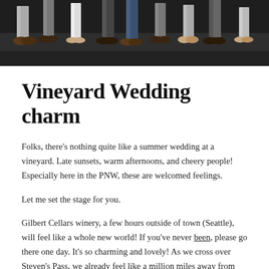[Figure (photo): Banner photo showing people's legs and feet standing on a concrete surface, shot from ground level at a wedding gathering.]
Vineyard Wedding charm
Folks, there's nothing quite like a summer wedding at a vineyard. Late sunsets, warm afternoons, and cheery people! Especially here in the PNW, these are welcomed feelings.
Let me set the stage for you.
Gilbert Cellars winery, a few hours outside of town (Seattle), will feel like a whole new world! If you've never been, please go there one day. It's so charming and lovely! As we cross over Steven's Pass, we already feel like a million miles away from the hustle of the city. Yakima welcomes us all with open arms and sunny skies.